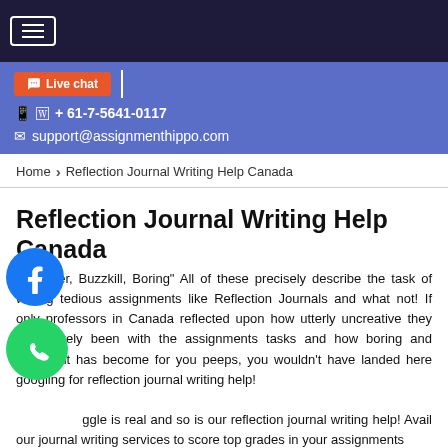Live chat   + 61-7-5641-0117   support@assignmenthippo.com
Home › Reflection Journal Writing Help Canada
Reflection Journal Writing Help Canada
“Bummer, Buzzkill, Boring” All of these precisely describe the task of writing tedious assignments like Reflection Journals and what not! If only professors in Canada reflected upon how utterly uncreative they have lately been with the assignments tasks and how boring and tedious it has become for you peeps, you wouldn’t have landed here googling for reflection journal writing help! The struggle is real and so is our reflection journal writing help! Avail our journal writing services to score top grades in your assignments